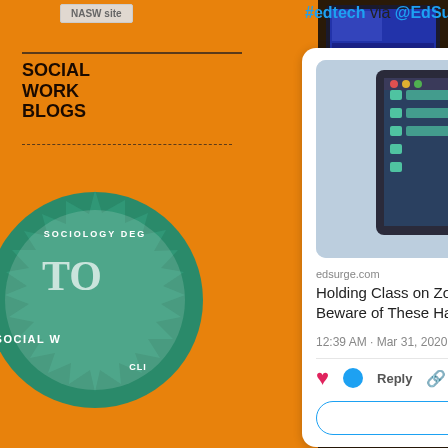NASW site
SOCIAL WORK BLOGS
[Figure (logo): Sociology degree badge/seal in green and white with text 'SOCIOLOGY DEG', 'TO', 'SOCIAL W', 'CLI']
#edtech via @EdSurge
[Figure (screenshot): Tweet card from edsurge.com showing: embedded illustration of a person on a video call on a computer monitor, source 'edsurge.com', title 'Holding Class on Zoom? Beware of These Hacks, ...', timestamp '12:39 AM · Mar 31, 2020', action buttons (heart, reply, copy link), and 'Explore what's happening o...' button]
BLOGROLL
Free tech for teachers...
Get Polling
Learn WordPress.c...
NEJRU social work college...
Get the 50 best...
[Figure (photo): Repeated pattern of tablet/iPad device photographs stacked vertically on dark brick background, right side panel]